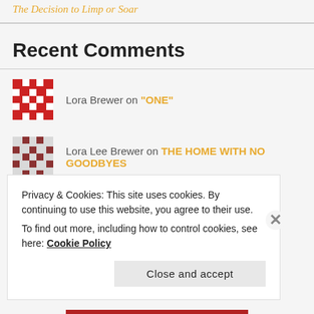The Decision to Limp or Soar
Recent Comments
Lora Brewer on "ONE"
Lora Lee Brewer on THE HOME WITH NO GOODBYES
Privacy & Cookies: This site uses cookies. By continuing to use this website, you agree to their use.
To find out more, including how to control cookies, see here: Cookie Policy
Close and accept